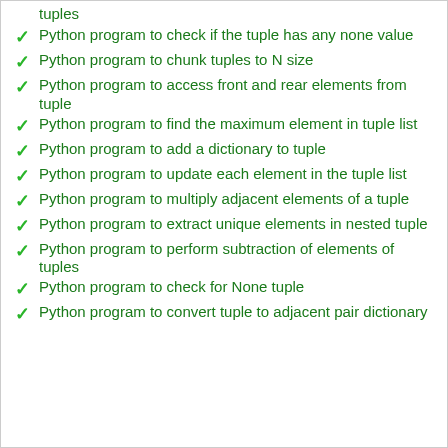tuples
Python program to check if the tuple has any none value
Python program to chunk tuples to N size
Python program to access front and rear elements from tuple
Python program to find the maximum element in tuple list
Python program to add a dictionary to tuple
Python program to update each element in the tuple list
Python program to multiply adjacent elements of a tuple
Python program to extract unique elements in nested tuple
Python program to perform subtraction of elements of tuples
Python program to check for None tuple
Python program to convert tuple to adjacent pair dictionary